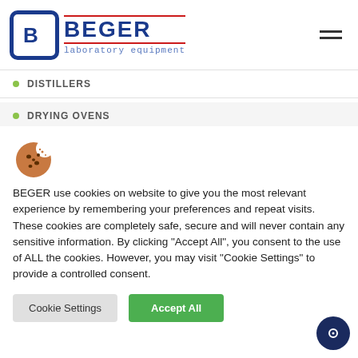[Figure (logo): Beger Laboratory Equipment logo with blue rounded square icon containing stylized B, and blue BEGER text with red top and bottom borders, subtitle 'laboratory equipment' in blue monospace]
DISTILLERS
DRYING OVENS
[Figure (illustration): Cookie emoji icon - brown cookie with chocolate chips and a bite taken out]
BEGER use cookies on website to give you the most relevant experience by remembering your preferences and repeat visits. These cookies are completely safe, secure and will never contain any sensitive information. By clicking "Accept All", you consent to the use of ALL the cookies. However, you may visit "Cookie Settings" to provide a controlled consent.
Cookie Settings | Accept All